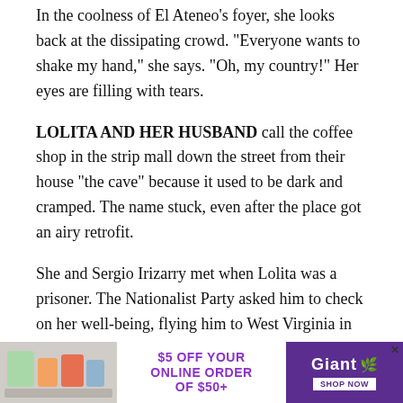In the coolness of El Ateneo's foyer, she looks back at the dissipating crowd. "Everyone wants to shake my hand," she says. "Oh, my country!" Her eyes are filling with tears.
LOLITA AND HER HUSBAND call the coffee shop in the strip mall down the street from their house "the cave" because it used to be dark and cramped. The name stuck, even after the place got an airy retrofit.
She and Sergio Irizarry met when Lolita was a prisoner. The Nationalist Party asked him to check on her well-being, flying him to West Virginia in the 1970s, rather than relying on American doctors to monitor her health. Once Lolita returned to Puerto Rico, Irizarry waited nearly eight years to ask her to be his wife. They shared
[Figure (infographic): Advertisement banner for Giant grocery store: '$5 OFF YOUR ONLINE ORDER OF $50+' with Giant logo and 'SHOP NOW' button, and grocery product image on the left.]